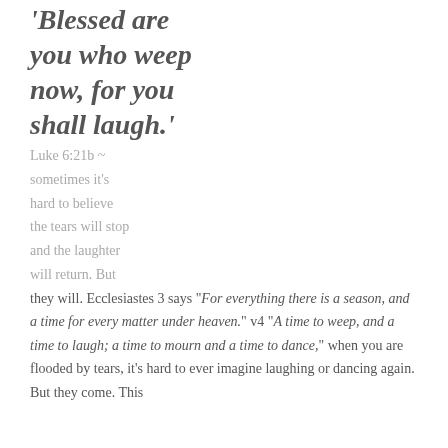'Blessed are you who weep now, for you shall laugh.'
Luke 6:21b ~ sometimes it's hard to believe the tears will stop and the laughter will return. But they will. Ecclesiastes 3 says "For everything there is a season, and a time for every matter under heaven." v4 "A time to weep, and a time to laugh; a time to mourn and a time to dance," when you are flooded by tears, it's hard to ever imagine laughing or dancing again. But they come. This